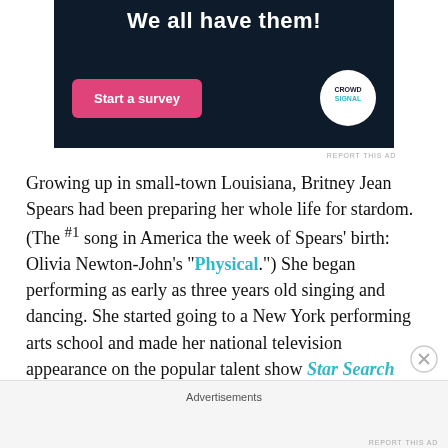[Figure (screenshot): Advertisement banner with dark navy background. Large white bold text reads 'We all have them!' with a pink 'Start a survey' button on the left and a circular Crowdsignal logo on the right.]
REPORT THIS AD
Growing up in small-town Louisiana, Britney Jean Spears had been preparing her whole life for stardom. (The #1 song in America the week of Spears' birth: Olivia Newton-John's "Physical.") She began performing as early as three years old singing and dancing. She started going to a New York performing arts school and made her national television appearance on the popular talent show Star Search
Advertisements
REPORT THIS AD